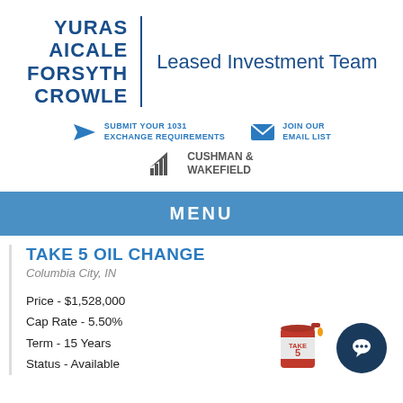YURAS AICALE FORSYTH CROWLE | Leased Investment Team
SUBMIT YOUR 1031 EXCHANGE REQUIREMENTS   JOIN OUR EMAIL LIST
[Figure (logo): Cushman & Wakefield logo with building icon]
MENU
TAKE 5 OIL CHANGE
Columbia City, IN
Price - $1,528,000
Cap Rate - 5.50%
Term - 15 Years
Status - Available
[Figure (logo): Take 5 oil can logo and dark chat bubble icon]